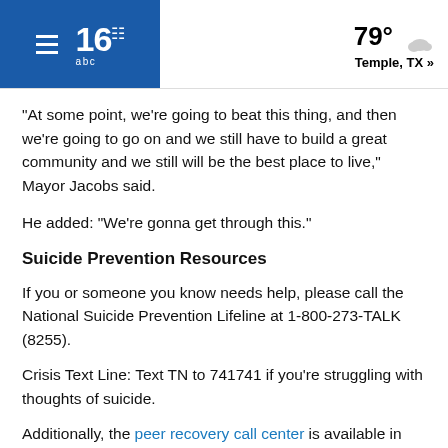16 | 79° Temple, TX »
"At some point, we're going to beat this thing, and then we're going to go on and we still have to build a great community and we still will be the best place to live," Mayor Jacobs said.
He added: "We're gonna get through this."
Suicide Prevention Resources
If you or someone you know needs help, please call the National Suicide Prevention Lifeline at 1-800-273-TALK (8255).
Crisis Text Line: Text TN to 741741 if you're struggling with thoughts of suicide.
Additionally, the peer recovery call center is available in East Tennessee, where those who answer the hotline have first-hand experience in the area.